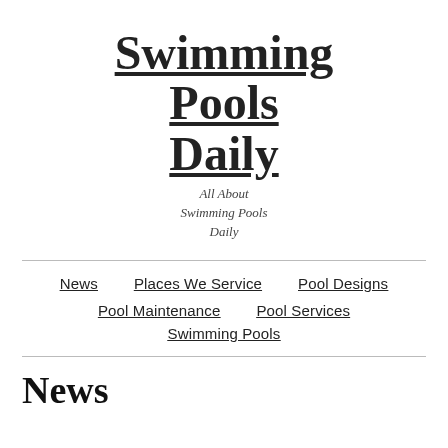Swimming Pools Daily
All About Swimming Pools Daily
News
Places We Service
Pool Designs
Pool Maintenance
Pool Services
Swimming Pools
News